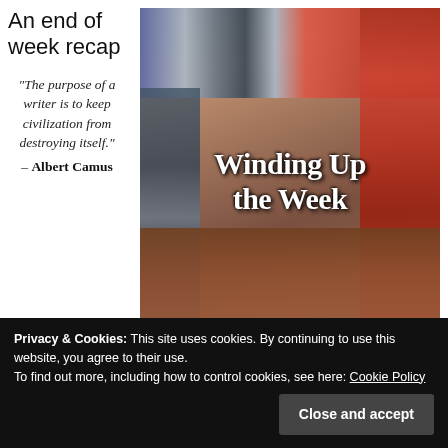An end of week recap
"The purpose of a writer is to keep civilization from destroying itself." – Albert Camus
[Figure (photo): Photo of stacked books on a wooden desk with a vintage telephone, overlaid with bold text reading 'Winding Up the Week']
Privacy & Cookies: This site uses cookies. By continuing to use this website, you agree to their use.
To find out more, including how to control cookies, see here: Cookie Policy
Close and accept